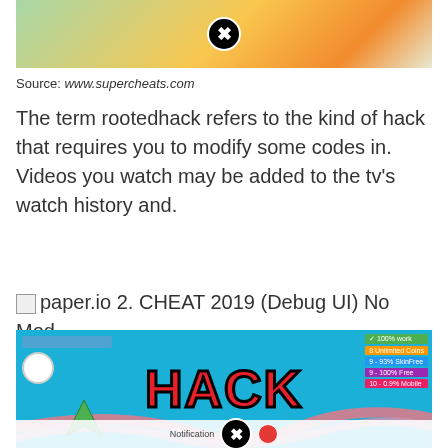[Figure (screenshot): Colorful geometric game screenshot with a close/X button circle overlay]
Source: www.supercheats.com
The term rootedhack refers to the kind of hack that requires you to modify some codes in. Videos you watch may be added to the tv's watch history and.
[Figure (other): Broken image placeholder with text: paper.io 2. CHEAT 2019 (Debug UI) No Mod]
Source: www.recover-lost-files.us
Make sure to press start game in the menu for the hacks to work! Bltadwin.ru 2 is a very addictive game.
[Figure (screenshot): Paper.io 2 HACK screenshot with blue background and red HACK text, showing game UI panels on sides, close button overlay at bottom]